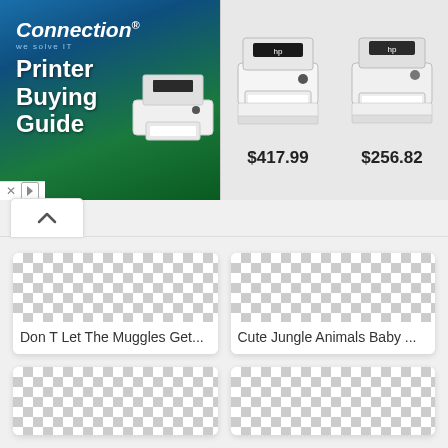[Figure (screenshot): Connection brand advertisement banner for Printer Buying Guide, showing two HP printers priced at $417.99 and $256.82]
[Figure (screenshot): Placeholder checkerboard image thumbnail for 'Don T Let The Muggles Get...']
Don T Let The Muggles Get...
[Figure (screenshot): Placeholder checkerboard image thumbnail for 'Cute Jungle Animals Baby ...']
Cute Jungle Animals Baby ...
[Figure (screenshot): Placeholder checkerboard image thumbnail (bottom left, no title visible)]
[Figure (screenshot): Placeholder checkerboard image thumbnail (bottom right, no title visible)]